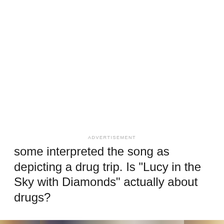ADVERTISEMENT
some interpreted the song as depicting a drug trip. Is “Lucy in the Sky with Diamonds” actually about drugs?
[Figure (photo): Photo of the Sgt. Pepper's Lonely Hearts Club Band album cover by The Beatles, held in front of a blurred bookshelf background. The iconic album cover shows a large crowd of figures with the Beatles in colorful military-style outfits, a drum with text, flowers, and 'BEATLES' written at the bottom.]